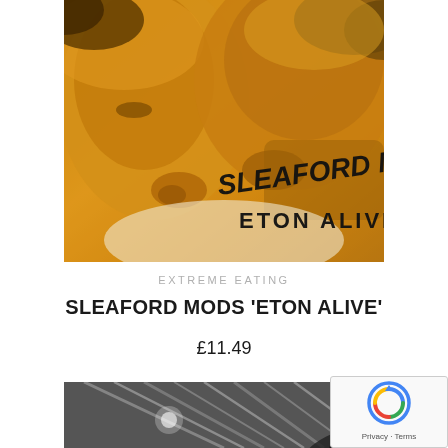[Figure (photo): Album cover for Sleaford Mods 'Eton Alive' showing two men's faces in close-up with warm orange/yellow toning. The text 'SLEAFORD MODS' in a handwritten/script style and 'ETON ALIVE' in bold capitals appear in the lower right of the image.]
EXTREME EATING
SLEAFORD MODS 'ETON ALIVE'
£11.49
[Figure (photo): Black and white photo showing structural beams or rafters from below, with light rays visible and what appears to be palm fronds in the lower right corner.]
[Figure (other): reCAPTCHA privacy badge with spinning arrow icon and 'Privacy · Terms' text]